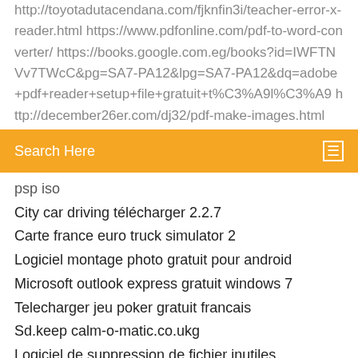http://toyotadutacendana.com/fjknfin3i/teacher-error-x-reader.html https://www.pdfonline.com/pdf-to-word-converter/ https://books.google.com.eg/books?id=IWFTNVv7TWcC&pg=SA7-PA12&lpg=SA7-PA12&dq=adobe+pdf+reader+setup+file+gratuit+t%C3%A9l%C3%A9 http://december26er.com/dj32/pdf-make-images.html
Search Here
psp iso
City car driving télécharger 2.2.7
Carte france euro truck simulator 2
Logiciel montage photo gratuit pour android
Microsoft outlook express gratuit windows 7
Telecharger jeu poker gratuit francais
Sd.keep calm-o-matic.co.ukg
Logiciel de suppression de fichier inutiles
Telecharger application shareit gratuit pour mobile
Itunes windows 7 pack 1 64 bits